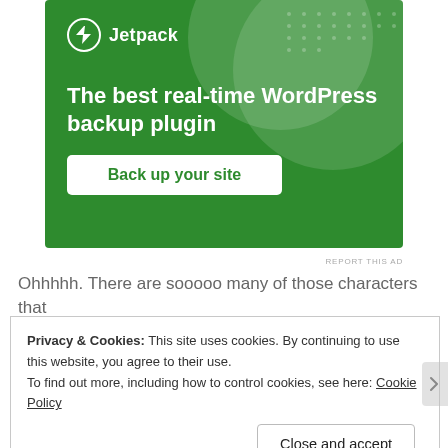[Figure (screenshot): Jetpack advertisement banner with green background. Shows Jetpack logo (lightning bolt icon in circle) and name at top, headline text 'The best real-time WordPress backup plugin', and a white button labeled 'Back up your site'.]
Ohhhhh. There are sooooo many of those characters that
Privacy & Cookies: This site uses cookies. By continuing to use this website, you agree to their use.
To find out more, including how to control cookies, see here: Cookie Policy
Close and accept